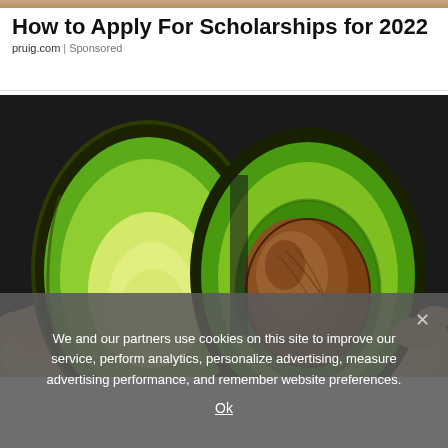[Figure (photo): Top decorative banner strip with warm brown/beige tones]
How to Apply For Scholarships for 2022
pruig.com | Sponsored
[Figure (photo): Two hands holding two halves of a sliced avocado against a dark background. The left half shows the empty seed cavity with pale yellow-green flesh, the right half shows the large brown seed still in place, both halves showing the bright green interior and dark skin.]
We and our partners use cookies on this site to improve our service, perform analytics, personalize advertising, measure advertising performance, and remember website preferences.
Ok